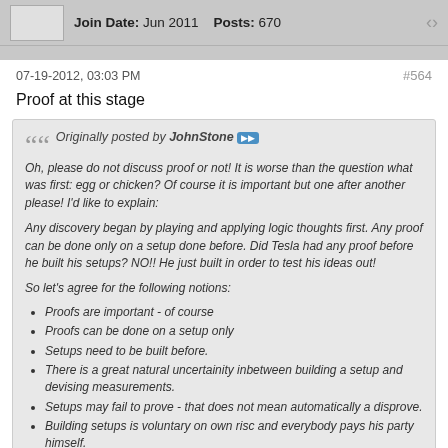Join Date: Jun 2011   Posts: 670
07-19-2012, 03:03 PM
#564
Proof at this stage
Originally posted by JohnStone
Oh, please do not discuss proof or not! It is worse than the question what was first: egg or chicken? Of course it is important but one after another please! I'd like to explain:

Any discovery began by playing and applying logic thoughts first. Any proof can be done only on a setup done before. Did Tesla had any proof before he built his setups? NO!! He just built in order to test his ideas out!

So let's agree for the following notions:

Proofs are important - of course
Proofs can be done on a setup only
Setups need to be built before.
There is a great natural uncertainity inbetween building a setup and devising measurements.
Setups may fail to prove - that does not mean automatically a disprove.
Building setups is voluntary on own risc and everybody pays his party himself.
Everybody is aked to perform reviews regularly in order